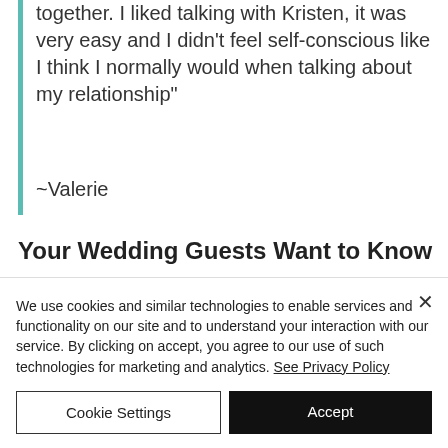together. I liked talking with Kristen, it was very easy and I didn't feel self-conscious like I think I normally would when talking about my relationship"
~Valerie
Your Wedding Guests Want to Know
We use cookies and similar technologies to enable services and functionality on our site and to understand your interaction with our service. By clicking on accept, you agree to our use of such technologies for marketing and analytics. See Privacy Policy